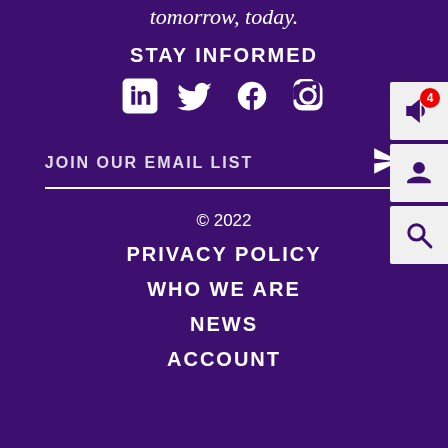tomorrow, today.
STAY INFORMED
[Figure (infographic): Social media icons: LinkedIn, Twitter, Facebook, Instagram in white on purple background]
JOIN OUR EMAIL LIST
© 2022
PRIVACY POLICY
WHO WE ARE
NEWS
ACCOUNT